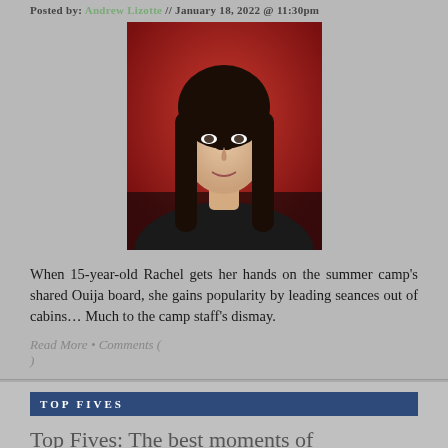Posted by: Andrew Lizotte // January 18, 2022 @ 11:30pm
[Figure (photo): Portrait photo of a woman with long dark hair against a red background, wearing a black top.]
When 15-year-old Rachel gets her hands on the summer camp's shared Ouija board, she gains popularity by leading seances out of cabins... Much to the camp staff's dismay.
Read More • Comments ( )
TOP FIVES
Top Fives: The best moments of Taskmaster